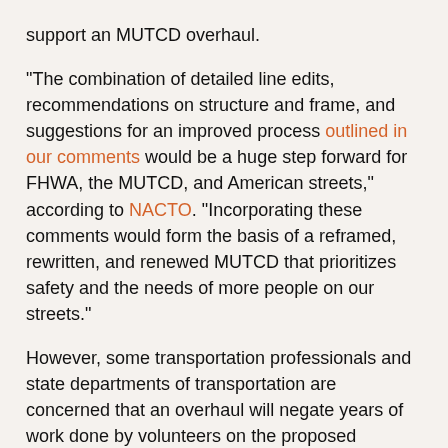support an MUTCD overhaul.
“The combination of detailed line edits, recommendations on structure and frame, and suggestions for an improved process outlined in our comments would be a huge step forward for FHWA, the MUTCD, and American streets,” according to NACTO. “Incorporating these comments would form the basis of a reframed, rewritten, and renewed MUTCD that prioritizes safety and the needs of more people on our streets.”
However, some transportation professionals and state departments of transportation are concerned that an overhaul will negate years of work done by volunteers on the proposed changes.
“To essentially dismiss this and other efforts to-date in developing useful, thoughtful comments by rescinding the NPA and starting over again not only dismisses years of important work by FHWA and countless volunteers, but also misses the opportunity to save lives now,” according to a